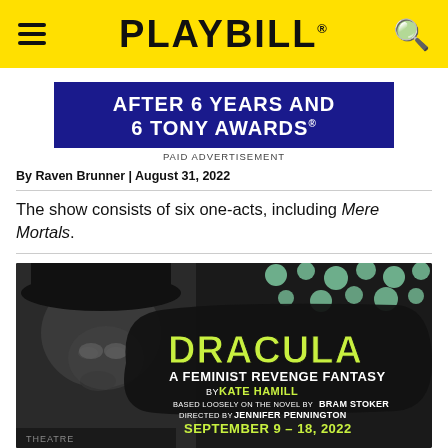PLAYBILL
[Figure (infographic): Advertisement banner: AFTER 6 YEARS AND 6 TONY AWARDS with blue background, white bold text]
PAID ADVERTISEMENT
By Raven Brunner | August 31, 2022
The show consists of six one-acts, including Mere Mortals.
[Figure (photo): Promotional image for Dracula: A Feminist Revenge Fantasy by Kate Hamill, based loosely on the novel by Bram Stoker, directed by Jennifer Pennington. September 9-18, 2022. Black and white close-up of a person's face with hat, with stylized DRACULA text and show details overlaid on dark brush stroke background with green polka dot pattern.]